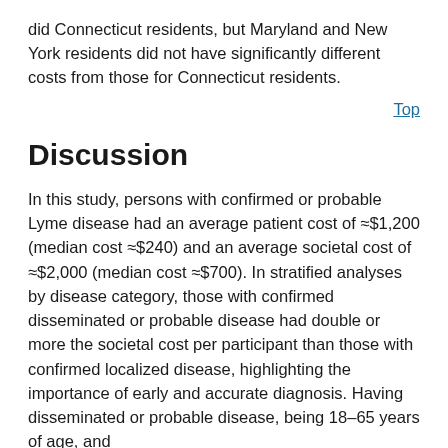did Connecticut residents, but Maryland and New York residents did not have significantly different costs from those for Connecticut residents.
Top
Discussion
In this study, persons with confirmed or probable Lyme disease had an average patient cost of ≈$1,200 (median cost ≈$240) and an average societal cost of ≈$2,000 (median cost ≈$700). In stratified analyses by disease category, those with confirmed disseminated or probable disease had double or more the societal cost per participant than those with confirmed localized disease, highlighting the importance of early and accurate diagnosis. Having disseminated or probable disease, being 18–65 years of age, and